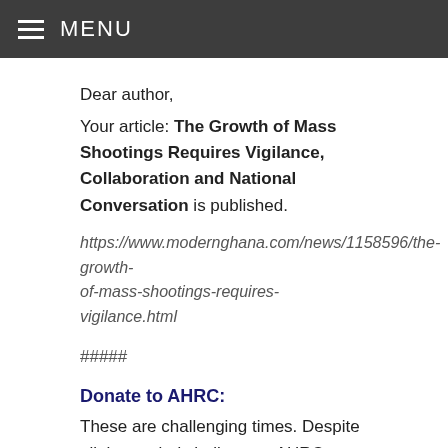MENU
Dear author,
Your article: The Growth of Mass Shootings Requires Vigilance, Collaboration and National Conversation is published.
https://www.modernghana.com/news/1158596/the-growth-of-mass-shootings-requires-vigilance.html
#####
Donate to AHRC:
These are challenging times. Despite all the myriad challenges, AHRC continues its diligent work helping members of our diverse communities at all levels. To donate, please visit: www.ahrcusa.org for safe & secured